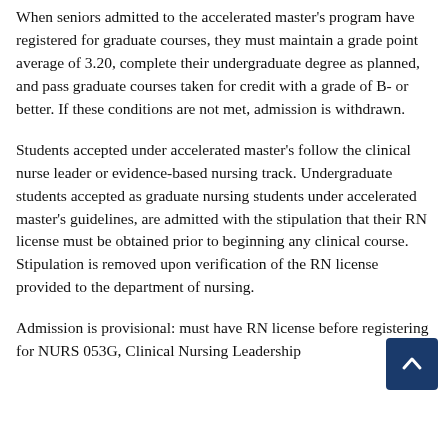When seniors admitted to the accelerated master's program have registered for graduate courses, they must maintain a grade point average of 3.20, complete their undergraduate degree as planned, and pass graduate courses taken for credit with a grade of B- or better. If these conditions are not met, admission is withdrawn.
Students accepted under accelerated master's follow the clinical nurse leader or evidence-based nursing track. Undergraduate students accepted as graduate nursing students under accelerated master's guidelines, are admitted with the stipulation that their RN license must be obtained prior to beginning any clinical course. Stipulation is removed upon verification of the RN license provided to the department of nursing.
Admission is provisional: must have RN license before registering for NURS 053G, Clinical Nursing Leadership...